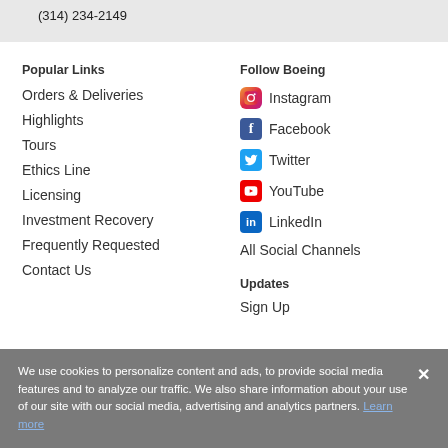(314) 234-2149
Popular Links
Orders & Deliveries
Highlights
Tours
Ethics Line
Licensing
Investment Recovery
Frequently Requested
Contact Us
Follow Boeing
Instagram
Facebook
Twitter
YouTube
LinkedIn
All Social Channels
Updates
Sign Up
We use cookies to personalize content and ads, to provide social media features and to analyze our traffic. We also share information about your use of our site with our social media, advertising and analytics partners. Learn more